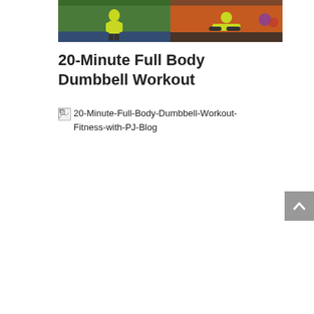[Figure (photo): Two-panel photo strip showing fitness workout scenes. Left panel: person exercising in green/teal gym. Right panel: person doing floor exercise in orange-walled gym.]
20-Minute Full Body Dumbbell Workout
[Figure (photo): Broken image placeholder with alt text: 20-Minute-Full-Body-Dumbbell-Workout-Fitness-with-PJ-Blog]